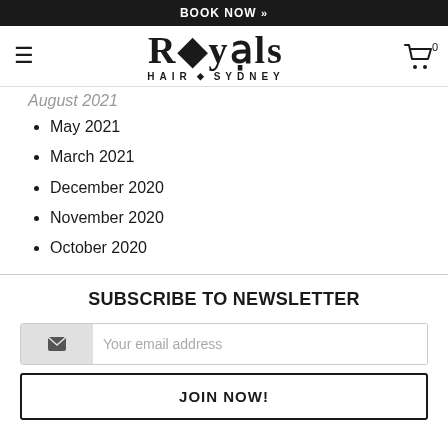BOOK NOW »
[Figure (logo): Royals Hair Sydney logo with decorative diamond diacritics and serif font]
August 2021 (partial, cut off)
May 2021
March 2021
December 2020
November 2020
October 2020
SUBSCRIBE TO NEWSLETTER
Your email address
JOIN NOW!